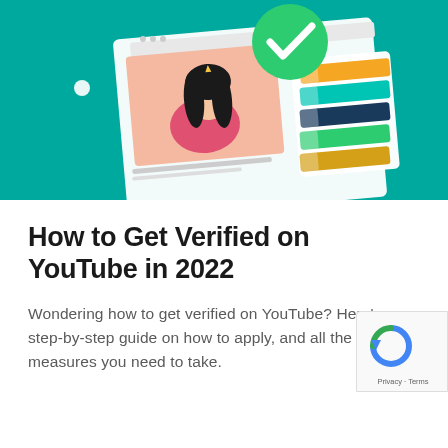[Figure (illustration): Teal/green background hero illustration showing a browser window with a woman character on a video thumbnail, a checklist panel with colored bars (orange, teal, dark blue, green, yellow-gold), and a large green checkmark badge overlaid on top. Small white decorative dots and diamond shapes scattered around.]
How to Get Verified on YouTube in 2022
Wondering how to get verified on YouTube? Here’s a step-by-step guide on how to apply, and all the extra measures you need to take.